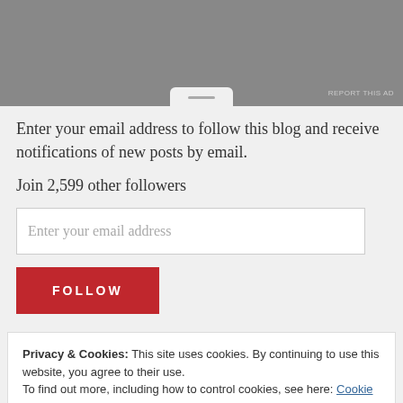[Figure (screenshot): Gray advertisement banner at the top with a 'REPORT THIS AD' label and a modal tab indicator at the bottom center]
Enter your email address to follow this blog and receive notifications of new posts by email.
Join 2,599 other followers
Enter your email address
FOLLOW
Privacy & Cookies: This site uses cookies. By continuing to use this website, you agree to their use.
To find out more, including how to control cookies, see here: Cookie Policy
Close and accept